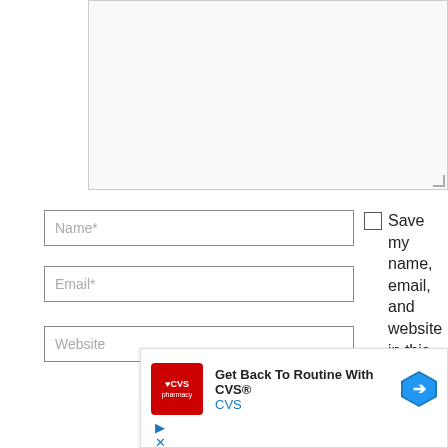[Figure (screenshot): Empty textarea input box with resize handle at bottom right, light gray background]
Name*
Email*
Website
Save my name, email, and website in this
[Figure (screenshot): CVS Pharmacy advertisement: 'Get Back To Routine With CVS®' with CVS logo and navigation arrow icon]